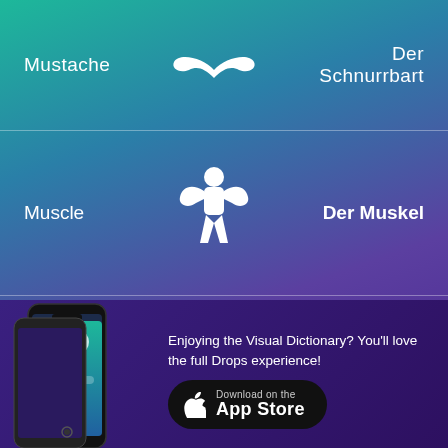[Figure (infographic): Visual dictionary entry: Mustache / Der Schnurrbart — white mustache icon on teal-to-purple gradient background]
[Figure (infographic): Visual dictionary entry: Muscle / Der Muskel — white flexing figure icon]
[Figure (infographic): Visual dictionary entry: Skeleton / Das Skelett — dancing skeleton illustration]
[Figure (screenshot): Phone mockup showing the Drops visual dictionary app interface]
Enjoying the Visual Dictionary? You'll love the full Drops experience!
Download on the App Store